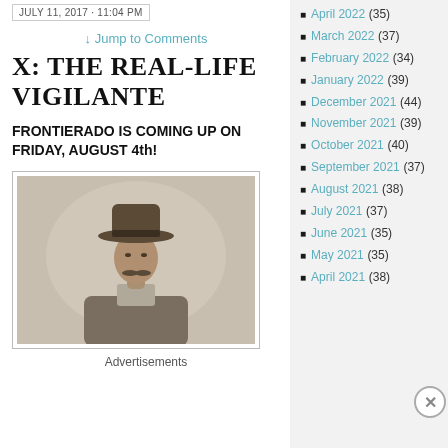JULY 11, 2017 · 11:04 PM
↓ Jump to Comments
X: THE REAL-LIFE VIGILANTE
FRONTIERADO IS COMING UP ON FRIDAY, AUGUST 4th!
[Figure (photo): Vintage sepia photograph of a man wearing a wide-brim hat and jacket, with a mustache, posed for a portrait.]
Advertisements